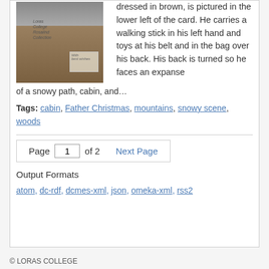[Figure (photo): Old postcard image showing a figure dressed in brown (Father Christmas) in a snowy mountain scene with cabin. Loras College Rosalind Collection watermark visible.]
dressed in brown, is pictured in the lower left of the card. He carries a walking stick in his left hand and toys at his belt and in the bag over his back. His back is turned so he faces an expanse of a snowy path, cabin, and…
Tags: cabin, Father Christmas, mountains, snowy scene, woods
Page 1 of 2  Next Page
Output Formats
atom, dc-rdf, dcmes-xml, json, omeka-xml, rss2
© LORAS COLLEGE